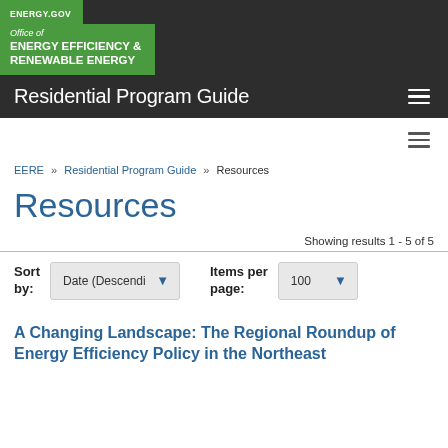ENERGY.GOV — Office of ENERGY EFFICIENCY & RENEWABLE ENERGY — Residential Program Guide
EERE » Residential Program Guide » Resources
Resources
Showing results 1 - 5 of 5
Sort by: Date (Descending) | Items per page: 100
A Changing Landscape: The Regional Roundup of Energy Efficiency Policy in the Northeast